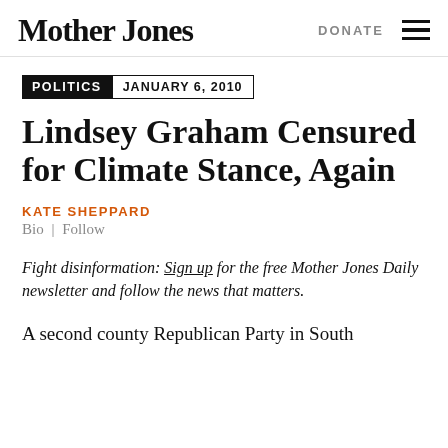Mother Jones | DONATE
POLITICS  JANUARY 6, 2010
Lindsey Graham Censured for Climate Stance, Again
KATE SHEPPARD
Bio | Follow
Fight disinformation: Sign up for the free Mother Jones Daily newsletter and follow the news that matters.
A second county Republican Party in South